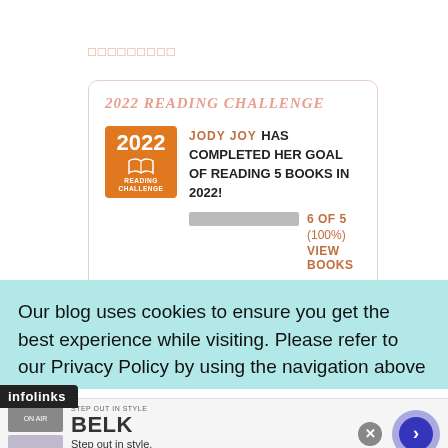□□□□□□□□□
[Figure (infographic): 2022 Reading Challenge badge and completion status for Jody Joy showing 6 of 5 books read (100%) with a progress bar and VIEW BOOKS link]
Our blog uses cookies to ensure you get the best experience while visiting. Please refer to our Privacy Policy by using the navigation above
infolinks
[Figure (screenshot): Advertisement for BELK - Step out in style. www.belk.com with product images and navigation arrow button]